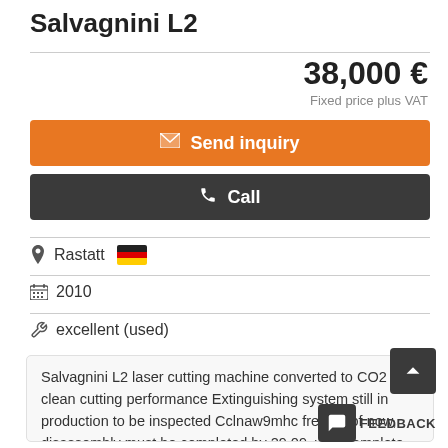Salvagnini L2
38,000 €
Fixed price plus VAT
✉ Send inquiry
📞 Call
Rastatt
2010
excellent (used)
Salvagnini L2 laser cutting machine converted to CO2 for clean cutting performance Extinguishing system still in production to be inspected Cclnaw9mhc free as of now, disassembly must be completed by 29.09. with complete documentation The price is valid ex location